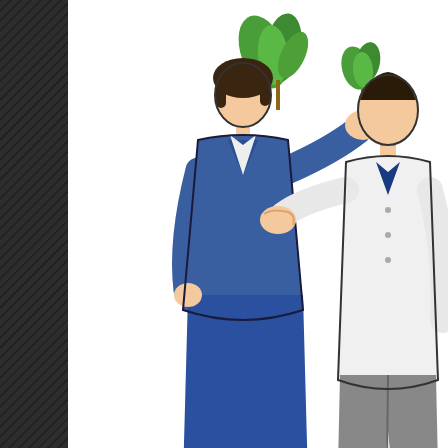[Figure (illustration): Cartoon illustration of two people: a woman in a blue blazer and skirt holding a small potted plant, facing a man in a white shirt and grey trousers. The woman appears to be handing or showing the plant to the man.]
8. You're paying him to do this, aren
You know I never tag. But in this case I feel compelled to allo So, I tag Epiphany, Karen, Polliwog, Bond, & Linda. And with evening from all of me at The WTIT Tape Radio Blog. Tomorro DJs' Take. Join us. Same time. Same